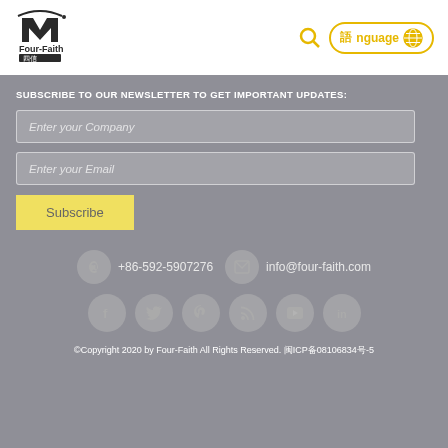[Figure (logo): Four-Faith company logo with stylized M mark and Chinese characters]
Language (globe icon button)
SUBSCRIBE TO OUR NEWSLETTER TO GET IMPORTANT UPDATES:
Enter your Company
Enter your Email
Subscribe
+86-592-5907276
info@four-faith.com
©Copyright 2020 by Four-Faith All Rights Reserved. 闽ICP备08106834号-5